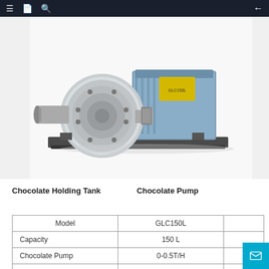Navigation bar with menu, document, search icons and back arrow
[Figure (photo): Industrial chocolate pump — stainless steel rotary lobe pump mounted on a metal baseplate, with a large circular front flange and drive motor housing visible on top]
Chocolate Holding Tank    Chocolate Pump
| Model | GLC150L |  |
| --- | --- | --- |
| Capacity | 150 L |  |
| Chocolate Pump | 0-0.5T/H |  |
| Total Power | 7.5kw |  |